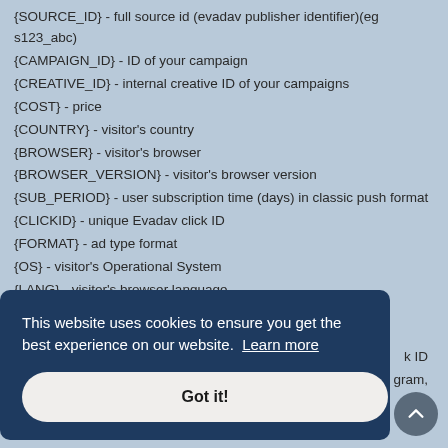{SOURCE_ID} - full source id (evadav publisher identifier)(eg s123_abc)
{CAMPAIGN_ID} - ID of your campaign
{CREATIVE_ID} - internal creative ID of your campaigns
{COST} - price
{COUNTRY} - visitor's country
{BROWSER} - visitor's browser
{BROWSER_VERSION} - visitor's browser version
{SUB_PERIOD} - user subscription time (days) in classic push format
{CLICKID} - unique Evadav click ID
{FORMAT} - ad type format
{OS} - visitor's Operational System
{LANG} - visitor's browser language
[Figure (screenshot): Cookie consent banner overlay with dark blue background saying 'This website uses cookies to ensure you get the best experience on our website. Learn more' with a 'Got it!' button]
...k ID ...gram, ...s. ...een provided - Payout. This link should be set up in a partnership